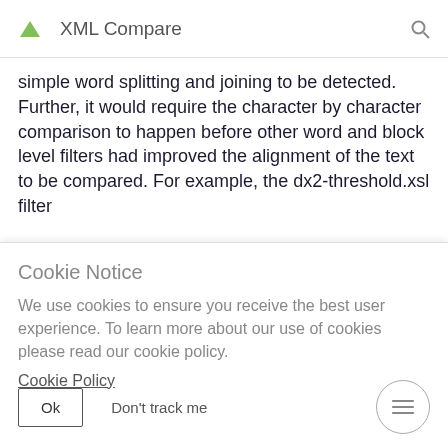XML Compare
simple word splitting and joining to be detected. Further, it would require the character by character comparison to happen before other word and block level filters had improved the alignment of the text to be compared. For example, the dx2-threshold.xsl filter
Cookie Notice
We use cookies to ensure you receive the best user experience. To learn more about our use of cookies please read our cookie policy.
Cookie Policy
Ok   Don't track me